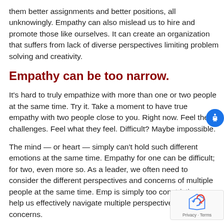them better assignments and better positions, all unknowingly. Empathy can also mislead us to hire and promote those like ourselves. It can create an organization that suffers from lack of diverse perspectives limiting problem solving and creativity.
Empathy can be too narrow.
It's hard to truly empathize with more than one or two people at the same time. Try it. Take a moment to have true empathy with two people close to you. Right now. Feel their challenges. Feel what they feel. Difficult? Maybe impossible.
The mind — or heart — simply can't hold such different emotions at the same time. Empathy for one can be difficult; for two, even more so. As a leader, we often need to consider the different perspectives and concerns of multiple people at the same time. Emp is simply too constricting to help us effectively navigate multiple perspectives and concerns.